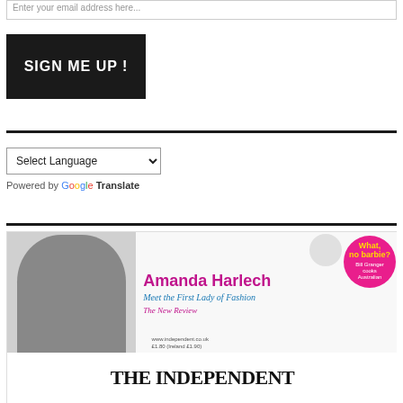Enter your email address here...
SIGN ME UP !
Select Language
Powered by Google Translate
[Figure (illustration): Advertisement for The Independent newspaper featuring Amanda Harlech 'Meet the First Lady of Fashion' with The New Review section label, a pink circle with 'What, no barbie? Bill Granger cooks Australian', food photograph, and The Independent masthead at the bottom.]